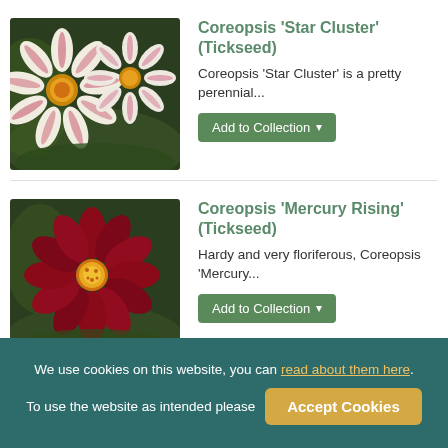[Figure (photo): Close-up photo of Coreopsis 'Star Cluster' flowers with white petals striped in pink/red and yellow centers, against dark green background]
Coreopsis 'Star Cluster' (Tickseed)
Coreopsis 'Star Cluster' is a pretty perennial...
[Figure (photo): Close-up photo of Coreopsis 'Mercury Rising' flower with deep red/crimson petals and bright yellow center, against green background]
Coreopsis 'Mercury Rising' (Tickseed)
Hardy and very floriferous, Coreopsis 'Mercury...
We use cookies on this website, you can read about them here. To use the website as intended please  Accept Cookies